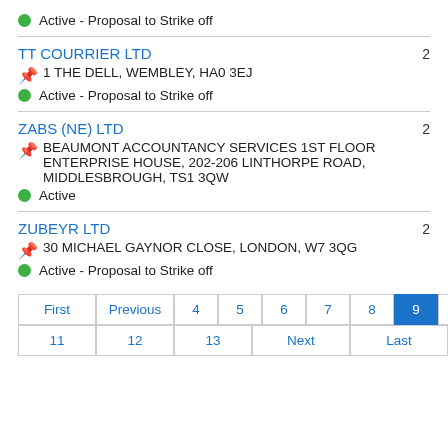Active - Proposal to Strike off
TT COURRIER LTD
1 THE DELL, WEMBLEY, HA0 3EJ
Active - Proposal to Strike off
2
ZABS (NE) LTD
BEAUMONT ACCOUNTANCY SERVICES 1ST FLOOR ENTERPRISE HOUSE, 202-206 LINTHORPE ROAD, MIDDLESBROUGH, TS1 3QW
Active
2
ZUBEYR LTD
30 MICHAEL GAYNOR CLOSE, LONDON, W7 3QG
Active - Proposal to Strike off
2
Pagination: First Previous 4 5 6 7 8 9 10 11 12 13 Next Last